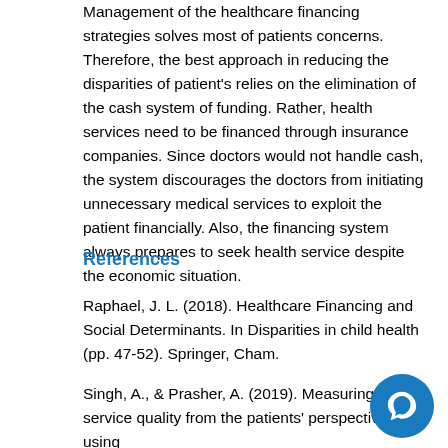Management of the healthcare financing strategies solves most of patients concerns. Therefore, the best approach in reducing the disparities of patient's relies on the elimination of the cash system of funding. Rather, health services need to be financed through insurance companies. Since doctors would not handle cash, the system discourages the doctors from initiating unnecessary medical services to exploit the patient financially. Also, the financing system always prepares to seek health service despite the economic situation.
References
Raphael, J. L. (2018). Healthcare Financing and Social Determinants. In Disparities in child health (pp. 47-52). Springer, Cham.
Singh, A., & Prasher, A. (2019). Measuring health service quality from the patients' perspective: using